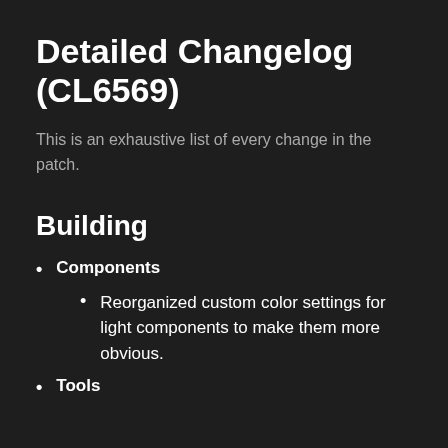Detailed Changelog (CL6569)
This is an exhaustive list of every change in the patch.
Building
Components
Reorganized custom color settings for light components to make them more obvious.
Tools